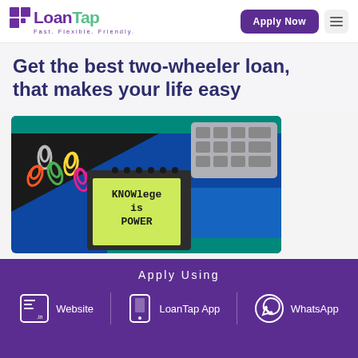LoanTap - Fast. Flexible. Friendly. | Apply Now
Get the best two-wheeler loan, that makes your life easy
[Figure (photo): Photo of a notepad with sticky note reading 'KNOWlege is POWER' surrounded by colorful paper clips and a calculator/keyboard on a blue background]
Apply Using
Website
LoanTap App
WhatsApp